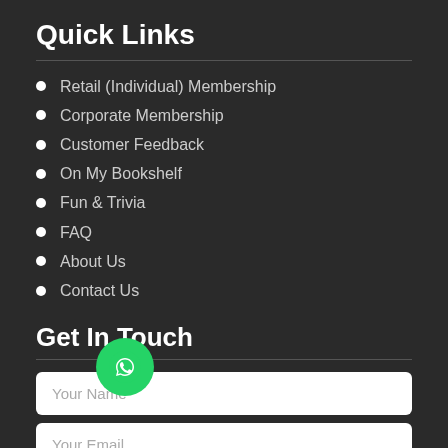Quick Links
Retail (Individual) Membership
Corporate Membership
Customer Feedback
On My Bookshelf
Fun & Trivia
FAQ
About Us
Contact Us
Get In Touch
Your Name
Your Email